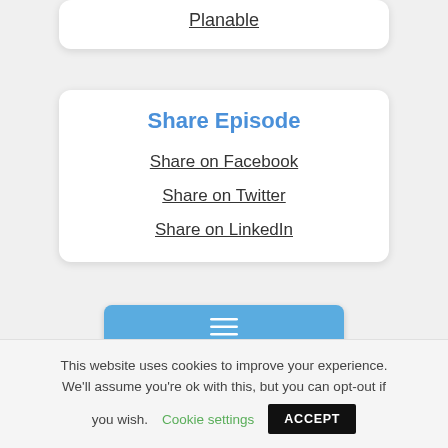Planable
Share Episode
Share on Facebook
Share on Twitter
Share on LinkedIn
[Figure (other): Blue menu/hamburger button]
This website uses cookies to improve your experience. We'll assume you're ok with this, but you can opt-out if you wish. Cookie settings ACCEPT